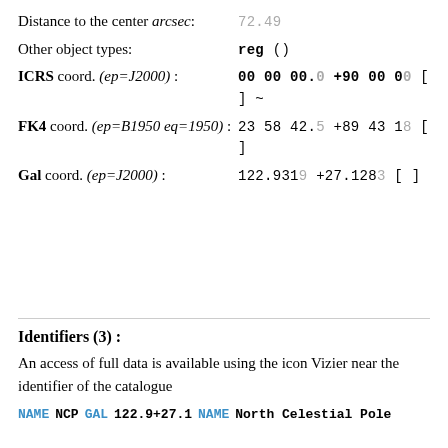Distance to the center arcsec:  72.49
Other object types:  reg ()
ICRS coord. (ep=J2000) :  00 00 00.0 +90 00 00 [ ] ~
FK4 coord. (ep=B1950 eq=1950) :  23 58 42.5 +89 43 18 [ ]
Gal coord. (ep=J2000) :  122.9319 +27.1283 [ ]
Identifiers (3) :
An access of full data is available using the icon Vizier near the identifier of the catalogue
NAME NCP  GAL 122.9+27.1  NAME North Celestial Pole